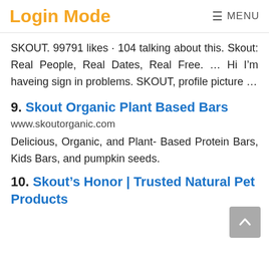Login Mode   ≡ MENU
SKOUT. 99791 likes · 104 talking about this. Skout: Real People, Real Dates, Real Free. ... Hi I'm haveing sign in problems. SKOUT, profile picture ...
9. Skout Organic Plant Based Bars
www.skoutorganic.com
Delicious, Organic, and Plant- Based Protein Bars, Kids Bars, and pumpkin seeds.
10. Skout's Honor | Trusted Natural Pet Products